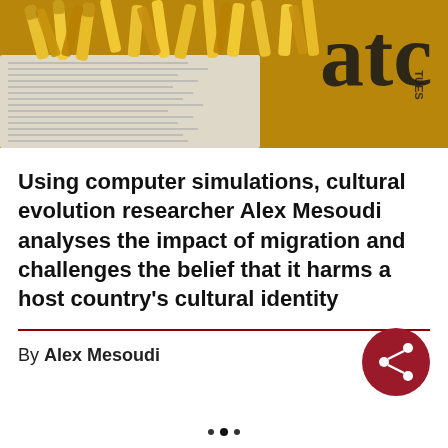[Figure (photo): Photo of french fries wrapped in newspaper, with the letters 'atc' visible in the top right and 'TUES' below it on the newspaper. The fries are golden yellow, photographed from above on crinkled newspaper.]
Using computer simulations, cultural evolution researcher Alex Mesoudi analyses the impact of migration and challenges the belief that it harms a host country's cultural identity
By Alex Mesoudi